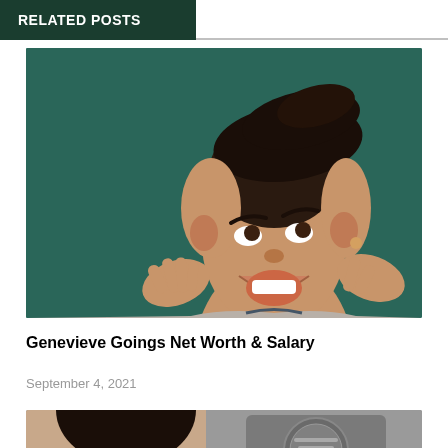RELATED POSTS
[Figure (photo): Woman with vintage-style pompadour hairstyle, laughing with hands raised near face, against teal/dark green background]
Genevieve Goings Net Worth & Salary
September 4, 2021
[Figure (photo): Partial view of a person with dark hair next to what appears to be a decorative metal emblem or badge]